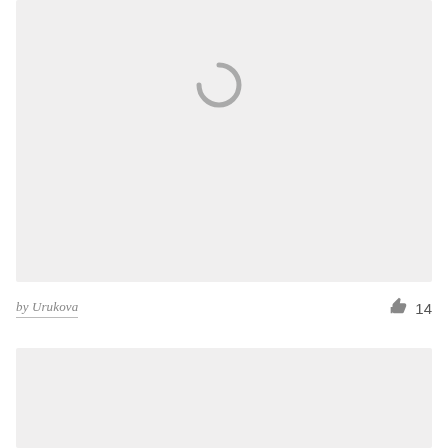[Figure (illustration): A light gray placeholder image card with a loading spinner icon (open circle arc) centered near the top, indicating content is loading.]
by Urukova
[Figure (illustration): A thumbs-up like icon in gray.]
14
[Figure (illustration): A second light gray placeholder image card at the bottom of the page, partially visible.]